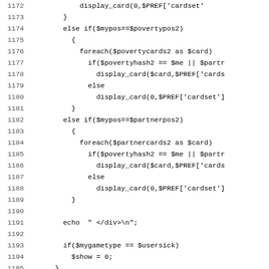[Figure (screenshot): Source code listing showing PHP code lines 1172-1203, with line numbers on the left and code on the right, monospaced font on white background.]